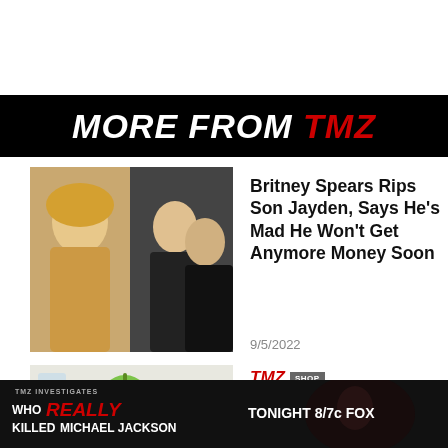MORE FROM TMZ
[Figure (photo): Photo of Britney Spears on the left and two young men (her sons) smiling on the right]
Britney Spears Rips Son Jayden, Says He's Mad He Won't Get Anymore Money Soon
9/5/2022
[Figure (photo): Photo of hydration packets, a glass of water, lemon slices, and a green apple on a table]
TMZ SHOP
Liquid I.V. Offers Easy
[Figure (screenshot): TMZ Investigates bottom banner: WHO REALLY KILLED MICHAEL JACKSON - TONIGHT 8/7c FOX]